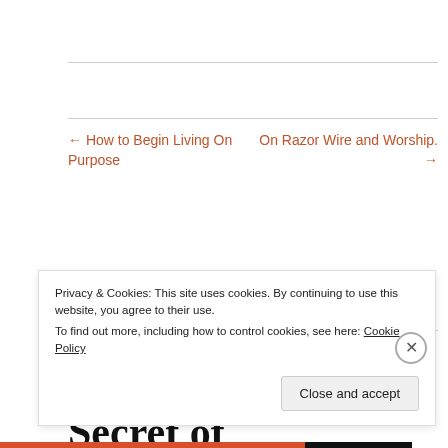← How to Begin Living On Purpose
On Razor Wire and Worship. →
2 thoughts on “The Secret of Contentment”
Privacy & Cookies: This site uses cookies. By continuing to use this website, you agree to their use.
To find out more, including how to control cookies, see here: Cookie Policy
Close and accept